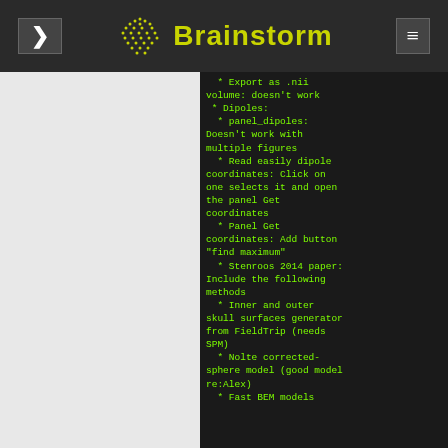Brainstorm
* Export as .nii volume: doesn't work
 * Dipoles:
  * panel_dipoles: Doesn't work with multiple figures
  * Read easily dipole coordinates: Click on one selects it and open the panel Get coordinates
  * Panel Get coordinates: Add button "find maximum"
  * Stenroos 2014 paper: Include the following methods
  * Inner and outer skull surfaces generator from FieldTrip (needs SPM)
  * Nolte corrected-sphere model (good model re:Alex)
  * Fast BEM models